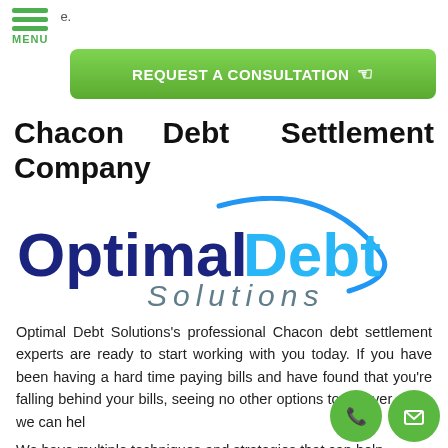e.
[Figure (screenshot): Green REQUEST A CONSULTATION button with hand cursor icon]
Chacon Debt Settlement Company
[Figure (logo): OptimalDebt Solutions logo — 'Optimal' in dark blue bold, 'Debt' in light blue bold, 'Solutions' in grey italic with a blue swoosh arc]
Optimal Debt Solutions's professional Chacon debt settlement experts are ready to start working with you today. If you have been having a hard time paying bills and have found that you're falling behind your bills, seeing no other options to recover soon, we can hel
We have multiple techniques and strategies that can help